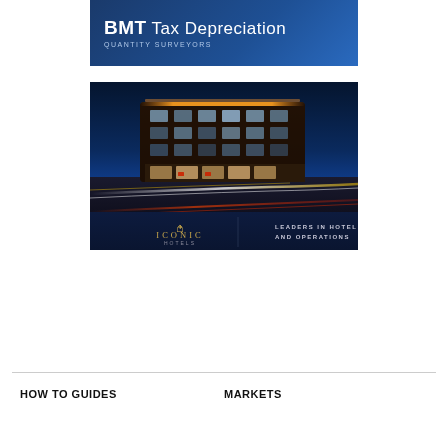[Figure (logo): BMT Tax Depreciation Quantity Surveyors banner with white text on dark blue gradient background]
[Figure (photo): Iconic Hotels promotional image showing a modern hotel building lit up at night with light trails from traffic. Bottom section shows Iconic Hotels logo and text: LEADERS IN HOTEL DELIVERY AND OPERATIONS]
HOW TO GUIDES
MARKETS